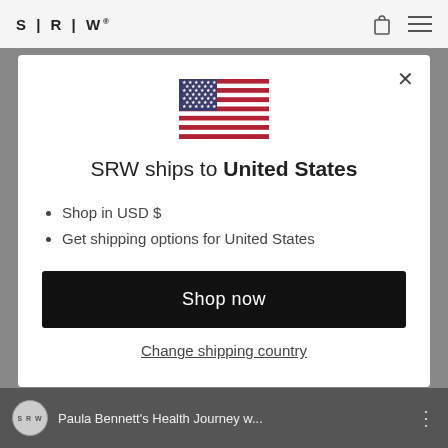S | R | W®
[Figure (illustration): US flag SVG icon centered in modal]
SRW ships to United States
Shop in USD $
Get shipping options for United States
Shop now
Change shipping country
Paula Bennett's Health Journey w...